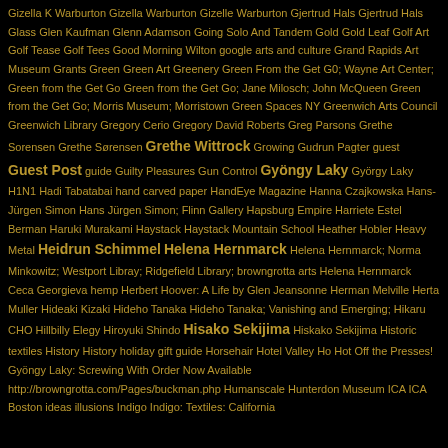Gizella K Warburton Gizella Warburton Gizelle Warburton Gjertrud Hals Gjertrud Hals Glass Glen Kaufman Glenn Adamson Going Solo And Tandem Gold Gold Leaf Golf Art Golf Tease Golf Tees Good Morning Wilton google arts and culture Grand Rapids Art Museum Grants Green Green Art Greenery Green From the Get G0; Wayne Art Center; Green from the Get Go Green from the Get Go; Jane Milosch; John McQueen Green from the Get Go; Morris Museum; Morristown Green Spaces NY Greenwich Arts Council Greenwich Library Gregory Cerio Gregory David Roberts Greg Parsons Grethe Sorensen Grethe Sørensen Grethe Wittrock Growing Gudrun Pagter guest Guest Post guide Guilty Pleasures Gun Control Gyöngy Laky György Laky H1N1 Hadi Tabatabai hand carved paper HandEye Magazine Hanna Czajkowska Hans-Jürgen Simon Hans Jürgen Simon; Flinn Gallery Hapsburg Empire Harriete Estel Berman Haruki Murakami Haystack Haystack Mountain School Heather Hobler Heavy Metal Heidrun Schimmel Helena Hernmarck Helena Hernmarck; Norma Minkowitz; Westport Libray; Ridgefield Library; browngrotta arts Helena Hernmarck Ceca Georgieva hemp Herbert Hoover: A Life by Glen Jeansonne Herman Melville Herta Muller Hideaki Kizaki Hideho Tanaka Hideho Tanaka; Vanishing and Emerging; Hikaru CHO Hillbilly Elegy Hiroyuki Shindo Hisako Sekijima Hiskako Sekijima Historic textiles History History holiday gift guide Horsehair Hotel Valley Ho Hot Off the Presses! Gyöngy Laky: Screwing With Order Now Available http://browngrotta.com/Pages/buckman.php Humanscale Hunterdon Museum ICA ICA Boston ideas illusions Indigo Indigo: Textiles: California